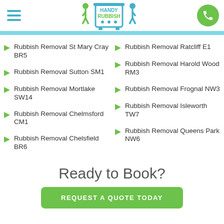[Figure (logo): Handy Rubbish logo with two walking figures and a rubbish bin on wheels]
Rubbish Removal St Mary Cray BR5
Rubbish Removal Ratcliff E1
Rubbish Removal Sutton SM1
Rubbish Removal Harold Wood RM3
Rubbish Removal Mortlake SW14
Rubbish Removal Frognal NW3
Rubbish Removal Chelmsford CM1
Rubbish Removal Isleworth TW7
Rubbish Removal Chelsfield BR6
Rubbish Removal Queens Park NW6
Ready to Book?
REQUEST A QUOTE TODAY